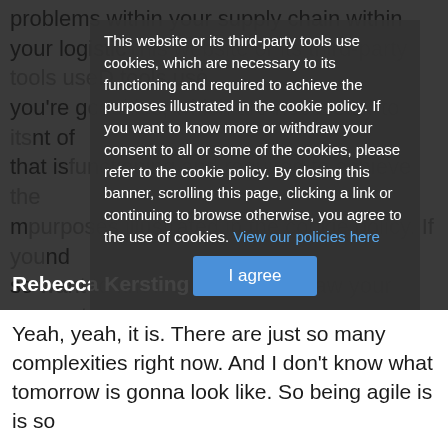problems within your supply chain within your logistic…you're g…nt of that is…m…nd so …er, just …ort of ran…lly when w…ations tha…stay the use of cookies. View our policies here …'t I need somebody to help me.
This website or its third-party tools use cookies, which are necessary to its functioning and required to achieve the purposes illustrated in the cookie policy. If you want to know more or withdraw your consent to all or some of the cookies, please refer to the cookie policy. By closing this banner, scrolling this page, clicking a link or continuing to browse otherwise, you agree to the use of cookies. View our policies here
I agree
Rebecca Kersting
Yeah, yeah, it is. There are just so many complexities right now. And I don't know what tomorrow is gonna look like. So being agile is is so